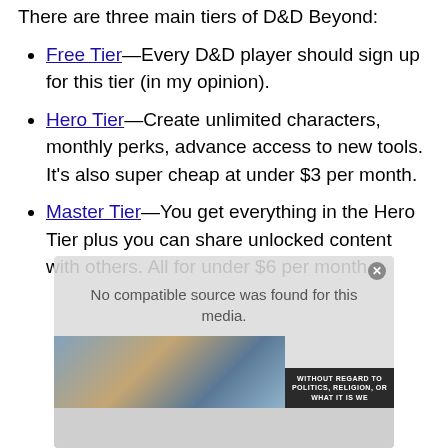There are three main tiers of D&D Beyond:
Free Tier—Every D&D player should sign up for this tier (in my opinion).
Hero Tier—Create unlimited characters, monthly perks, advance access to new tools. It's also super cheap at under $3 per month.
Master Tier—You get everything in the Hero Tier plus you can share unlocked content with others. All for under $6 per month.
[Figure (other): Advertisement overlay showing an airplane cargo loading image with text 'No compatible source was found for this media' and a banner reading 'WITHOUT REGARD TO POLITICS, RELIGION, OR WHAT IT IS WE']